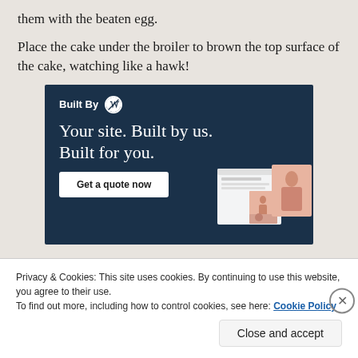them with the beaten egg.
Place the cake under the broiler to brown the top surface of the cake, watching like a hawk!
[Figure (illustration): Advertisement banner for WordPress 'Built By WP' service. Dark navy blue background with white text reading 'Built By' with WordPress logo, then large text 'Your site. Built by us. Built for you.' with a 'Get a quote now' button and mockup website screenshots on the right side.]
Privacy & Cookies: This site uses cookies. By continuing to use this website, you agree to their use.
To find out more, including how to control cookies, see here: Cookie Policy
Close and accept